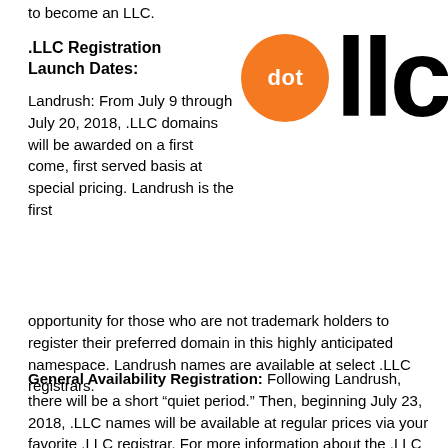to become an LLC.
.LLC Registration Launch Dates:
Landrush: From July 9 through July 20, 2018, .LLC domains will be awarded on a first come, first served basis at special pricing. Landrush is the first opportunity for those who are not trademark holders to register their preferred domain in this highly anticipated namespace. Landrush names are available at select .LLC registrars.
[Figure (logo): Orange circle with white text 'dot' beside large black bold text 'llc']
General Availability Registration: Following Landrush, there will be a short “quiet period.” Then, beginning July 23, 2018, .LLC names will be available at regular prices via your favorite .LLC registrar. For more information about the .LLC domain and registration schedule details, please visit www.get.LLC.